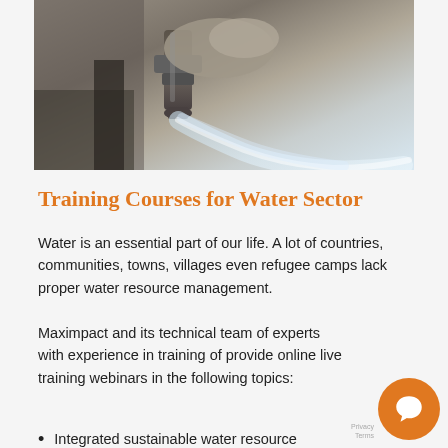[Figure (photo): Close-up photograph of a metal water tap/faucet with water gushing out, held by gloved hands, against a sandy/dusty background.]
Training Courses for Water Sector
Water is an essential part of our life. A lot of countries, communities, towns, villages even refugee camps lack proper water resource management.
Maximpact and its technical team of experts with experience in training of provide online live training webinars in the following topics:
Integrated sustainable water resource